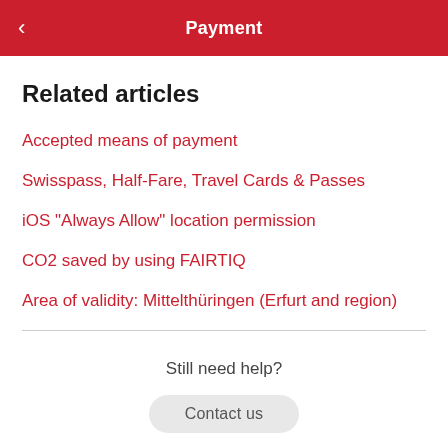Payment
Related articles
Accepted means of payment
Swisspass, Half-Fare, Travel Cards & Passes
iOS "Always Allow" location permission
CO2 saved by using FAIRTIQ
Area of validity: Mittelthüringen (Erfurt and region)
Still need help?
Contact us